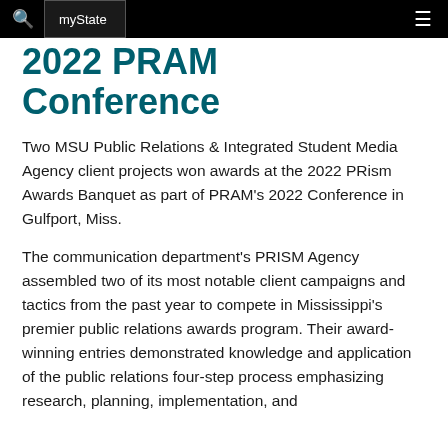myState
2022 PRAM Conference
Two MSU Public Relations & Integrated Student Media Agency client projects won awards at the 2022 PRism Awards Banquet as part of PRAM's 2022 Conference in Gulfport, Miss.
The communication department's PRISM Agency assembled two of its most notable client campaigns and tactics from the past year to compete in Mississippi's premier public relations awards program. Their award-winning entries demonstrated knowledge and application of the public relations four-step process emphasizing research, planning, implementation, and